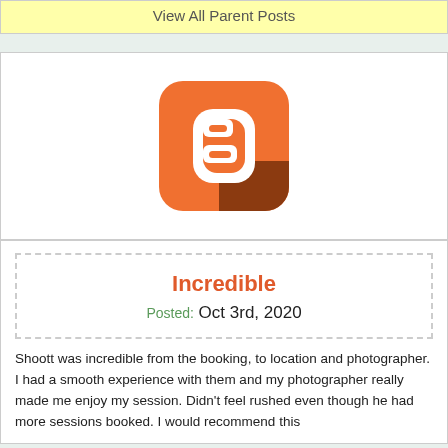View All Parent Posts
[Figure (logo): Blogger app icon — orange rounded square with white letter B and brown shadow]
Incredible
Posted: Oct 3rd, 2020
Shoott was incredible from the booking, to location and photographer. I had a smooth experience with them and my photographer really made me enjoy my session. Didn't feel rushed even though he had more sessions booked. I would recommend this